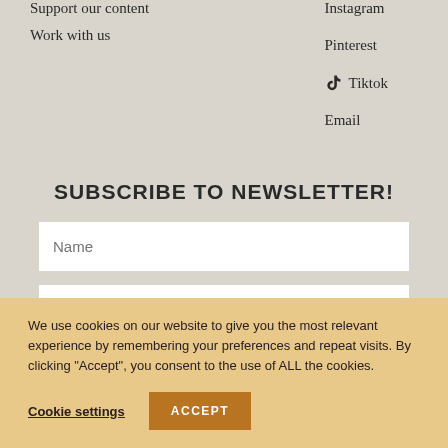Support our content
Work with us
Instagram
Pinterest
Tiktok
Email
SUBSCRIBE TO NEWSLETTER!
Name
Email address
We use cookies on our website to give you the most relevant experience by remembering your preferences and repeat visits. By clicking “Accept”, you consent to the use of ALL the cookies.
Cookie settings
ACCEPT